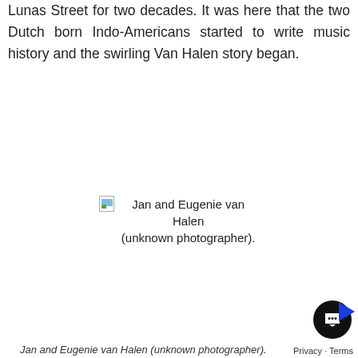Lunas Street for two decades. It was here that the two Dutch born Indo-Americans started to write music history and the swirling Van Halen story began.
[Figure (photo): Broken image placeholder with label: Jan and Eugenie van Halen (unknown photographer).]
Jan and Eugenie van Halen (unknown photographer).